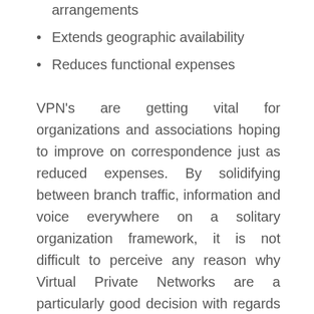arrangements
Extends geographic availability
Reduces functional expenses
VPN's are getting vital for organizations and associations hoping to improve on correspondence just as reduced expenses. By solidifying between branch traffic, information and voice everywhere on a solitary organization framework, it is not difficult to perceive any reason why Virtual Private Networks are a particularly good decision with regards to correspondence needs.